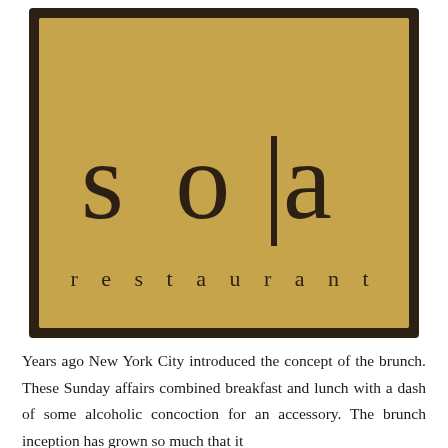[Figure (logo): Sola restaurant logo: a gold/brass textured square plaque on dark brown background, with the word 'sola' in large spaced serif letters with a vertical bar between 'so' and 'la', and 'restaurant' in smaller spaced letters below.]
Years ago New York City introduced the concept of the brunch. These Sunday affairs combined breakfast and lunch with a dash of some alcoholic concoction for an accessory. The brunch inception has grown so much that it